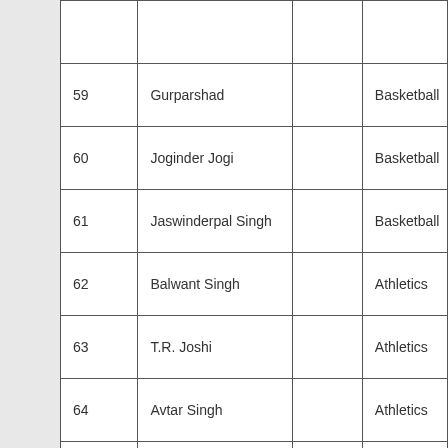| No. | Name |  | Sport |
| --- | --- | --- | --- |
|  |  |  |  |
| 59 | Gurparshad |  | Basketball |
| 60 | Joginder Jogi |  | Basketball |
| 61 | Jaswinderpal Singh |  | Basketball |
| 62 | Balwant Singh |  | Athletics |
| 63 | T.R. Joshi |  | Athletics |
| 64 | Avtar Singh |  | Athletics |
| 65 | Upkar Singh |  | Athletics |
| 66 | Kewal Singh |  | Athletics |
| 67 | Surjit Singh |  | Athletics |